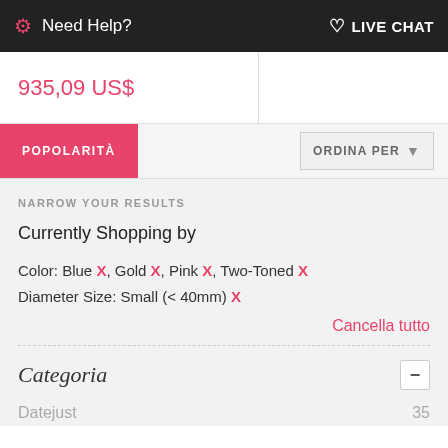Need Help? LIVE CHAT
935,09 US$
POPOLARITÀ    ORDINA PER
NARROW YOUR RESULTS
Currently Shopping by
Color: Blue X, Gold X, Pink X, Two-Toned X
Diameter Size: Small (< 40mm) X
Cancella tutto
Categoria
Datejust  35